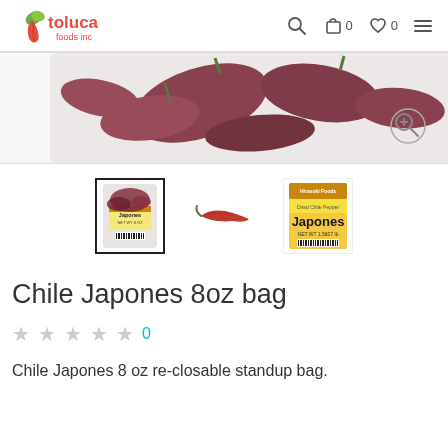toluca foods inc
[Figure (photo): Partial view of Chile Japones product bag from above, showing dried red chilies]
[Figure (photo): Three product thumbnails: packaged bag of chile japones, single dried chili pepper, and Japones product box]
Chile Japones 8oz bag
0
Chile Japones 8 oz re-closable standup bag.